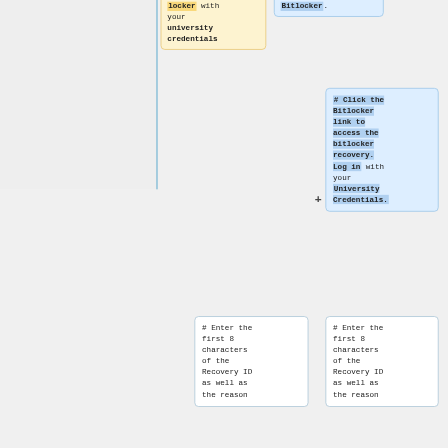locker with your university credentials
Bitlocker.
# Click the Bitlocker link to access the bitlocker recovery. Log in with your University Credentials.
# Enter the first 8 characters of the Recovery ID as well as the reason
# Enter the first 8 characters of the Recovery ID as well as the reason